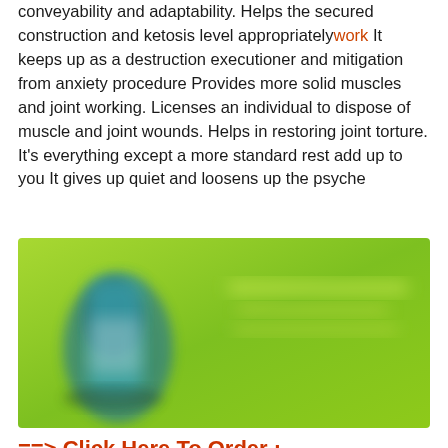conveyability and adaptability. Helps the secured construction and ketosis level appropriatelywork It keeps up as a destruction executioner and mitigation from anxiety procedure Provides more solid muscles and joint working. Licenses an individual to dispose of muscle and joint wounds. Helps in restoring joint torture. It's everything except a more standard rest add up to you It gives up quiet and loosens up the psyche
[Figure (photo): A blurred product image on a bright green background showing a supplement bottle]
==> Click Here To Order :